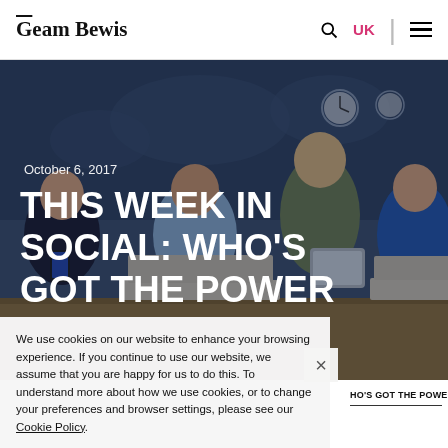Team Bewis | UK
[Figure (photo): Hero image showing young people sitting at a table with laptops and phones in front of a world map wall. Text overlay reads: October 6, 2017 / THIS WEEK IN SOCIAL: WHO'S GOT THE POWER]
THIS WEEK IN SOCIAL: WHO'S GOT THE POWER
We use cookies on our website to enhance your browsing experience. If you continue to use our website, we assume that you are happy for us to do this. To understand more about how we use cookies, or to change your preferences and browser settings, please see our Cookie Policy.
HO'S GOT THE POWER